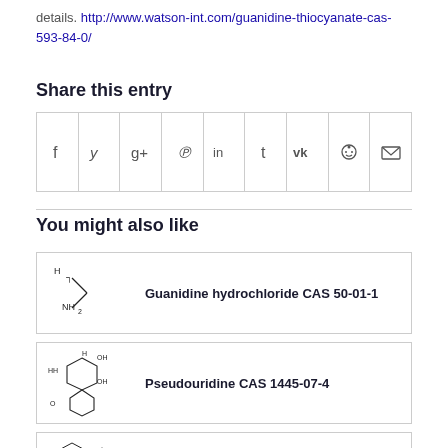details. http://www.watson-int.com/guanidine-thiocyanate-cas-593-84-0/
Share this entry
[Figure (other): Social sharing icons row: Facebook, Twitter, Google+, Pinterest, LinkedIn, Tumblr, VK, Reddit, Email]
You might also like
[Figure (illustration): Chemical structure of Guanidine hydrochloride]
Guanidine hydrochloride CAS 50-01-1
[Figure (illustration): Chemical structure of Pseudouridine]
Pseudouridine CAS 1445-07-4
[Figure (illustration): Chemical structure of Nafamostat mesylate]
Nafamostat mesylate CAS 82956-11-4